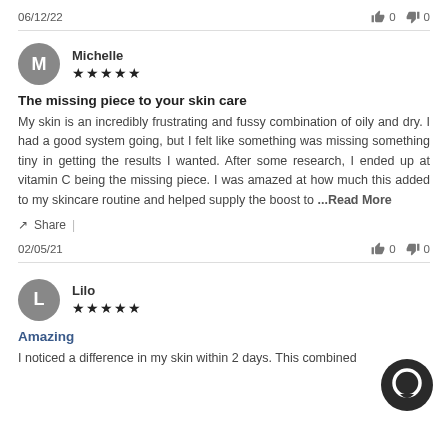06/12/22
👍 0  👎 0
Michelle ★★★★★
The missing piece to your skin care
My skin is an incredibly frustrating and fussy combination of oily and dry. I had a good system going, but I felt like something was missing something tiny in getting the results I wanted. After some research, I ended up at vitamin C being the missing piece. I was amazed at how much this added to my skincare routine and helped supply the boost to …Read More
↗ Share  |
02/05/21
👍 0  👎 0
Lilo ★★★★★
Amazing
I noticed a difference in my skin within 2 days. This combined